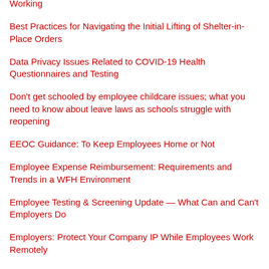Working
Best Practices for Navigating the Initial Lifting of Shelter-in-Place Orders
Data Privacy Issues Related to COVID-19 Health Questionnaires and Testing
Don't get schooled by employee childcare issues; what you need to know about leave laws as schools struggle with reopening
EEOC Guidance: To Keep Employees Home or Not
Employee Expense Reimbursement: Requirements and Trends in a WFH Environment
Employee Testing & Screening Update — What Can and Can't Employers Do
Employers: Protect Your Company IP While Employees Work Remotely
Employment Lessons From the Early State Reopeners